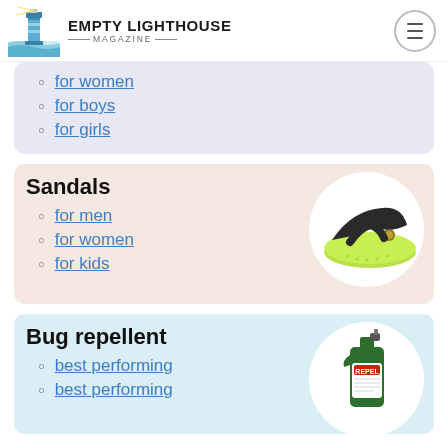Empty Lighthouse Magazine
for women
for boys
for girls
Sandals
[Figure (photo): A dark grey and neon green flip-flop sandal on a white circular background]
for men
for women
for kids
Bug repellent
[Figure (photo): A green Repel brand bug repellent spray bottle on a white circular background]
best performing
best performing